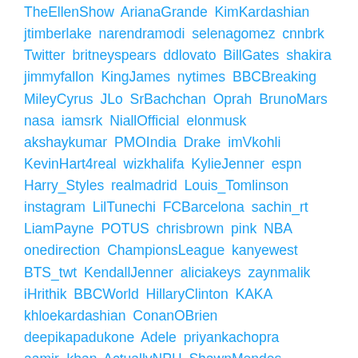TheEllenShow ArianaGrande KimKardashian jtimberlake narendramodi selenagomez cnnbrk Twitter britneyspears ddlovato BillGates shakira jimmyfallon KingJames nytimes BBCBreaking MileyCyrus JLo SrBachchan Oprah BrunoMars nasa iamsrk NiallOfficial elonmusk akshaykumar PMOIndia Drake imVkohli KevinHart4real wizkhalifa KylieJenner espn Harry_Styles realmadrid Louis_Tomlinson instagram LilTunechi FCBarcelona sachin_rt LiamPayne POTUS chrisbrown pink NBA onedirection ChampionsLeague kanyewest BTS_twt KendallJenner aliciakeys zaynmalik iHrithik BBCWorld HillaryClinton KAKA khloekardashian ConanOBrien deepikapadukone Adele priyankachopra aamir_khan ActuallyNPH ShawnMendes WhiteHouse NFL kourtneykardash pitbull MesutOzil1088 andresiniesta8 NatGeo premierleague ManUtd arrahman coldplay Eminem AnushkaSharma MariahCarey NICKIMINAJ